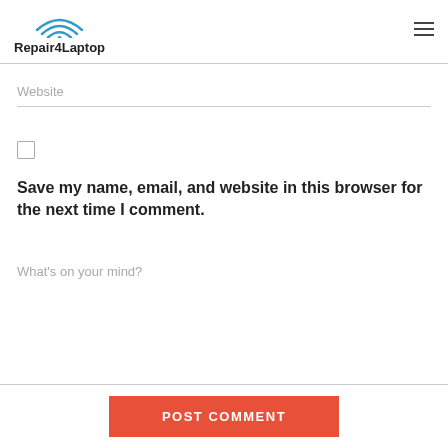Repair4Laptop
Website
Save my name, email, and website in this browser for the next time I comment.
What's on your mind?
POST COMMENT